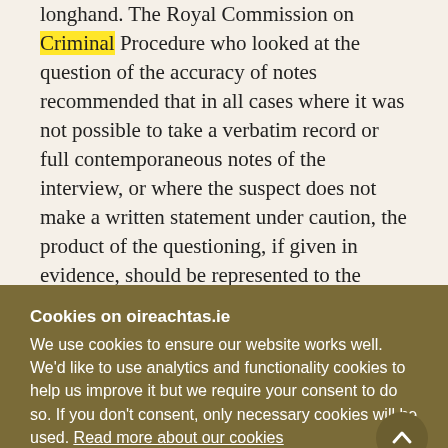longhand. The Royal Commission on Criminal Procedure who looked at the question of the accuracy of notes recommended that in all cases where it was not possible to take a verbatim record or full contemporaneous notes of the interview, or where the suspect does not make a written statement under caution, the product of the questioning, if given in evidence, should be represented to the court as what it is — a minute of the main relevant points.
Cookies on oireachtas.ie
We use cookies to ensure our website works well. We'd like to use analytics and functionality cookies to help us improve it but we require your consent to do so. If you don't consent, only necessary cookies will be used. Read more about our cookies
Manage cookies
Accept all cookies